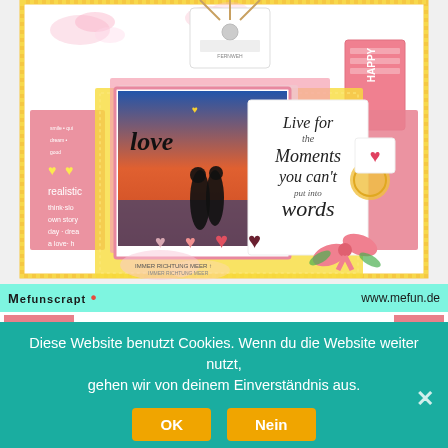[Figure (photo): Scrapbook layout page featuring a photo of two silhouettes on a beach at sunset, with 'love' handwritten text, pink hearts, yellow patterned background, decorative elements, tags, ribbons, and the quote 'Live for the Moments you can't put into words'. Pink and yellow color scheme with floral and heart embellishments.]
MeFunscrapt • www.mefun.de
Diese Website benutzt Cookies. Wenn du die Website weiter nutzt, gehen wir von deinem Einverständnis aus.